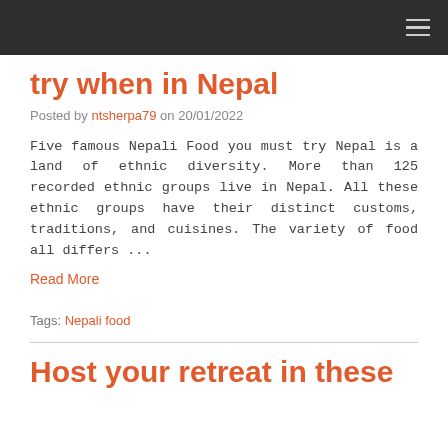Navigation bar with hamburger menu
try when in Nepal
Posted by ntsherpa79 on 20/01/2022
Five famous Nepali Food you must try Nepal is a land of ethnic diversity. More than 125 recorded ethnic groups live in Nepal. All these ethnic groups have their distinct customs, traditions, and cuisines. The variety of food all differs ...
Read More
Tags: Nepali food
Host your retreat in these